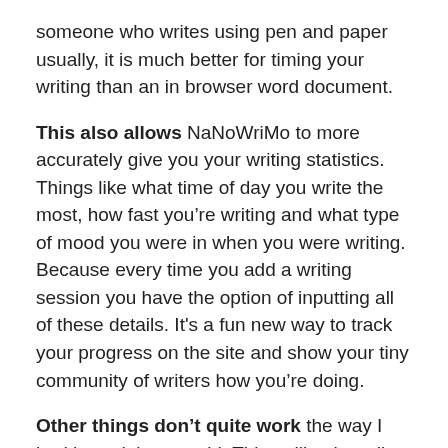someone who writes using pen and paper usually, it is much better for timing your writing than an in browser word document.
This also allows NaNoWriMo to more accurately give you your writing statistics. Things like what time of day you write the most, how fast you’re writing and what type of mood you were in when you were writing. Because every time you add a writing session you have the option of inputting all of these details. It's a fun new way to track your progress on the site and show your tiny community of writers how you’re doing.
Other things don’t quite work the way I had hoped they would. Things like the edit word count by day feature and the choose whatever word count over 50k feature are no longer available on the site. This is a little bit sad, as those